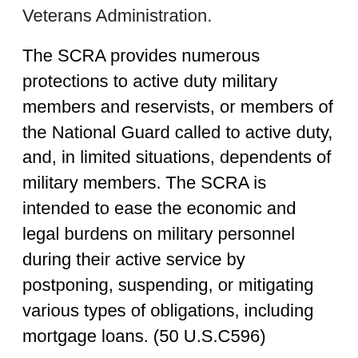Veterans Administration.
The SCRA provides numerous protections to active duty military members and reservists, or members of the National Guard called to active duty, and, in limited situations, dependents of military members. The SCRA is intended to ease the economic and legal burdens on military personnel during their active service by postponing, suspending, or mitigating various types of obligations, including mortgage loans. (50 U.S.C596)
The SCRA provides relief during and after active service under some circumstances, including:
Restricting the maximum interest rate that